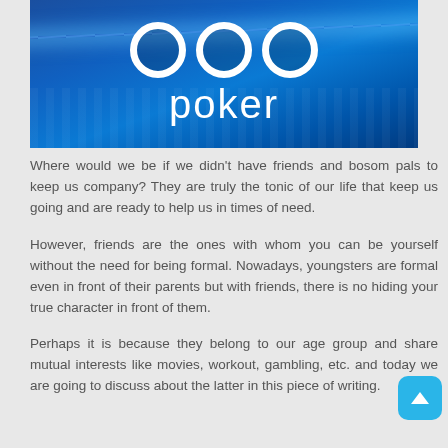[Figure (logo): 888 poker banner with blue gradient background, three white circle logos and the word 'poker' in white text]
Where would we be if we didn't have friends and bosom pals to keep us company? They are truly the tonic of our life that keep us going and are ready to help us in times of need.
However, friends are the ones with whom you can be yourself without the need for being formal. Nowadays, youngsters are formal even in front of their parents but with friends, there is no hiding your true character in front of them.
Perhaps it is because they belong to our age group and share mutual interests like movies, workout, gambling, etc. and today we are going to discuss about the latter in this piece of writing.